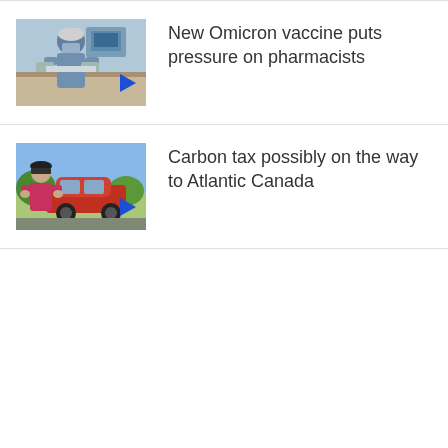[Figure (photo): Thumbnail image of a person in medical scrubs and mask in a clinical/lab setting, with a blue play button overlay]
New Omicron vaccine puts pressure on pharmacists
[Figure (photo): Thumbnail image of a man in a pink shirt standing next to a red car outdoors, with a blue play button overlay]
Carbon tax possibly on the way to Atlantic Canada